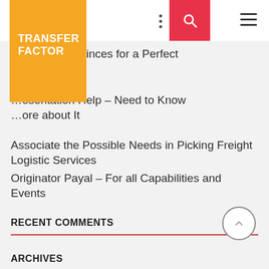TRANSFER FACTOR
…code of Provinces for a Perfect
…esentation Help – Need to Know …ore about It
Associate the Possible Needs in Picking Freight Logistic Services
Originator Payal – For all Capabilities and Events
RECENT COMMENTS
ARCHIVES